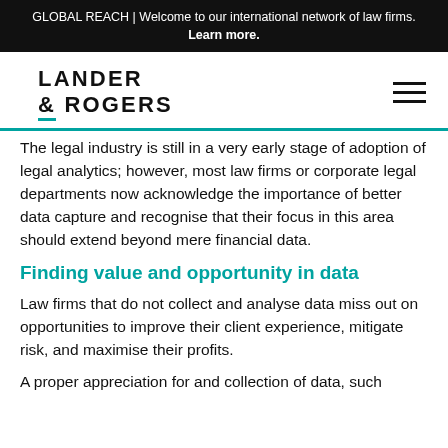GLOBAL REACH | Welcome to our international network of law firms. Learn more.
[Figure (logo): Lander & Rogers law firm logo with hamburger menu icon]
The legal industry is still in a very early stage of adoption of legal analytics; however, most law firms or corporate legal departments now acknowledge the importance of better data capture and recognise that their focus in this area should extend beyond mere financial data.
Finding value and opportunity in data
Law firms that do not collect and analyse data miss out on opportunities to improve their client experience, mitigate risk, and maximise their profits.
A proper appreciation for and collection of data, such